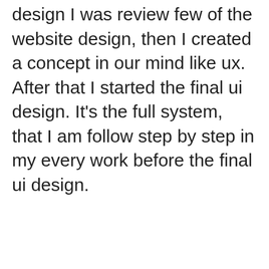design I was review few of the website design, then I created a concept in our mind like ux. After that I started the final ui design. It's the full system, that I am follow step by step in my every work before the final ui design.